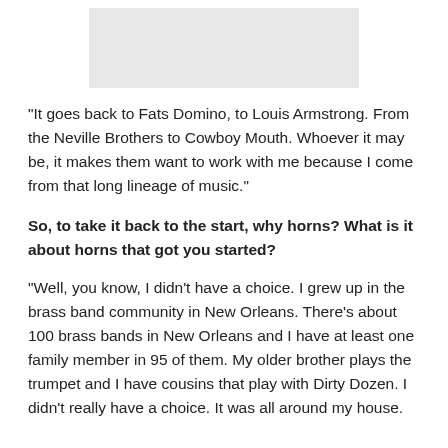[Figure (photo): Gray rectangular image placeholder at top of page]
“It goes back to Fats Domino, to Louis Armstrong. From the Neville Brothers to Cowboy Mouth. Whoever it may be, it makes them want to work with me because I come from that long lineage of music.”
So, to take it back to the start, why horns? What is it about horns that got you started?
“Well, you know, I didn’t have a choice. I grew up in the brass band community in New Orleans. There’s about 100 brass bands in New Orleans and I have at least one family member in 95 of them. My older brother plays the trumpet and I have cousins that play with Dirty Dozen. I didn’t really have a choice. It was all around my house.